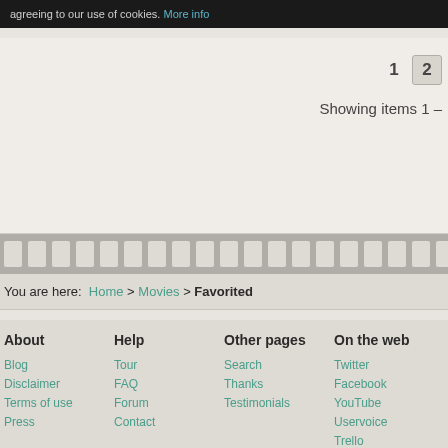agreeing to our use of cookies. More info
1  2
Showing items 1 –
[Figure (other): Film strip decorative divider]
You are here: Home > Movies > Favorited
About
Blog
Disclaimer
Terms of use
Press
Help
Tour
FAQ
Forum
Contact
Other pages
Search
Thanks
Testimonials
On the web
Twitter
Facebook
YouTube
Uservoice
Trello